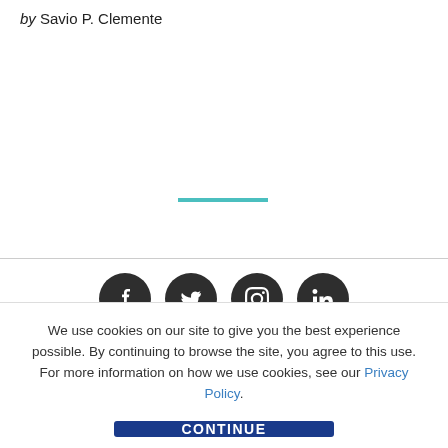by Savio P. Clemente
[Figure (other): Teal horizontal divider line]
[Figure (other): Social media icons: Facebook, Twitter, Instagram, LinkedIn]
We use cookies on our site to give you the best experience possible. By continuing to browse the site, you agree to this use. For more information on how we use cookies, see our Privacy Policy.
CONTINUE